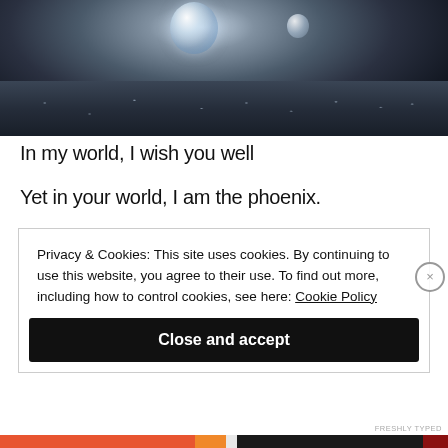[Figure (photo): Close-up macro photograph of a frozen soap bubble or ice crystal ball resting on a dark frost-covered surface, with a smaller bubble visible to the right. The background is dark blue-grey, and the surface shows crystalline frost texture.]
In my world, I wish you well
Yet in your world, I am the phoenix.
Privacy & Cookies: This site uses cookies. By continuing to use this website, you agree to their use. To find out more, including how to control cookies, see here: Cookie Policy
Close and accept